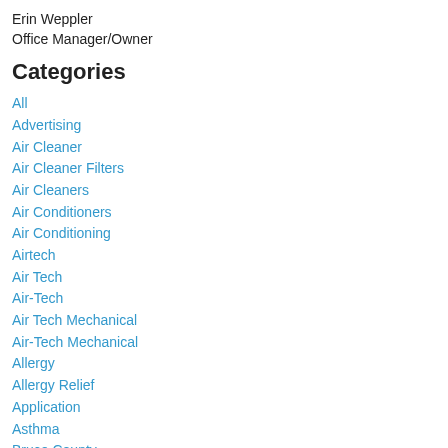Erin Weppler
Office Manager/Owner
Categories
All
Advertising
Air Cleaner
Air Cleaner Filters
Air Cleaners
Air Conditioners
Air Conditioning
Airtech
Air Tech
Air-Tech
Air Tech Mechanical
Air-Tech Mechanical
Allergy
Allergy Relief
Application
Asthma
Bruce County